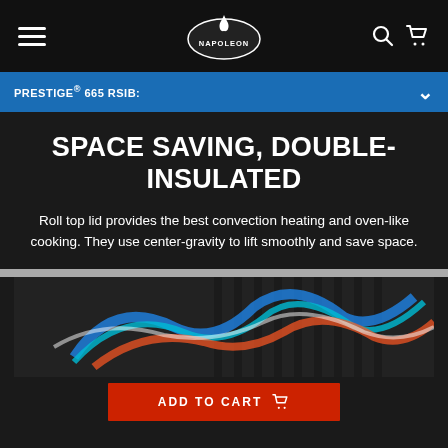Napoleon (logo) — navigation bar with hamburger menu, search, and cart icons
PRESTIGE® 665 RSIB:
SPACE SAVING, DOUBLE-INSULATED
Roll top lid provides the best convection heating and oven-like cooking. They use center-gravity to lift smoothly and save space.
[Figure (photo): Close-up photo of a colorful grill burner with blue, teal, red, and white flames on dark grill grates]
ADD TO CART